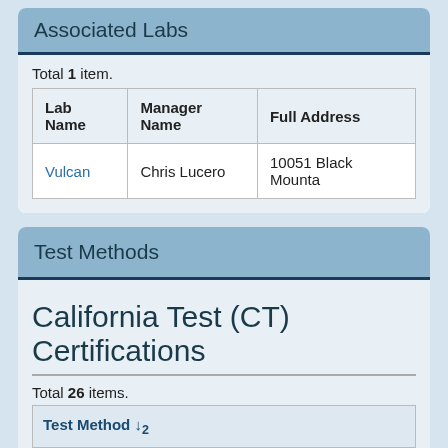Associated Labs
Total 1 item.
| Lab Name | Manager Name | Full Address |
| --- | --- | --- |
| Vulcan | Chris Lucero | 10051 Black Mounta |
Test Methods
California Test (CT) Certifications
Total 26 items.
| Test Method ↓² |
| --- |
| CT 105 Calculations - Gradings (JTCP - HMA I / S& |
| CT 106 Definitions - Specific Gravity (SpG) |